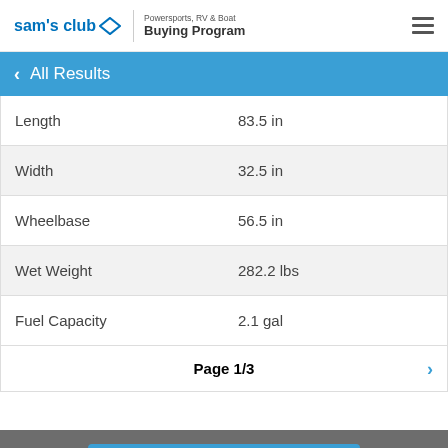Sam's Club | Powersports, RV & Boat Buying Program
< All Results
| Length | 83.5 in |
| Width | 32.5 in |
| Wheelbase | 56.5 in |
| Wet Weight | 282.2 lbs |
| Fuel Capacity | 2.1 gal |
| Page 1/3 | > |
Get Member Price >